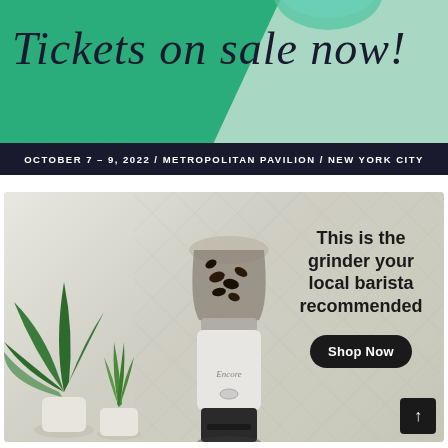Tickets on sale now!
OCTOBER 7 – 9, 2022 / METROPOLITAN PAVILION / NEW YORK CITY
[Figure (photo): Coffee grinder (Encore brand) on a white kitchen counter with green potted plants in background]
This is the grinder your local barista recommended
Shop Now